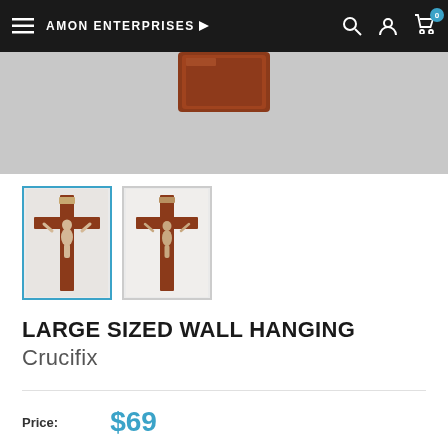AMON ENTERPRISES
[Figure (photo): Large wall hanging crucifix product photo — brown wooden cross with silver-tone corpus, shown on a light grey background. Two thumbnail images below showing the same product from different angles.]
LARGE SIZED WALL HANGING Crucifix
Price: $69